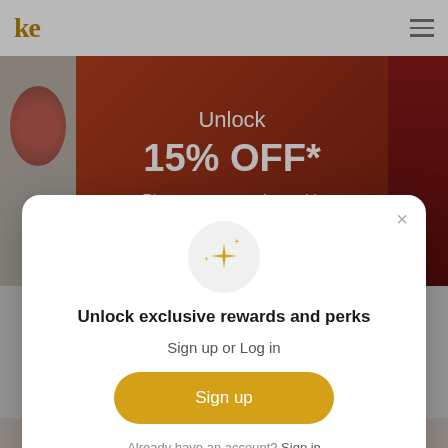ke
[Figure (photo): Fashion website banner showing model in red outfit with promotional text: Unlock 15% OFF* Plus, stay up-to-date with everything Ketch!]
Unlock exclusive rewards and perks
Sign up or Log in
Sign up
Already have an account? Sign in